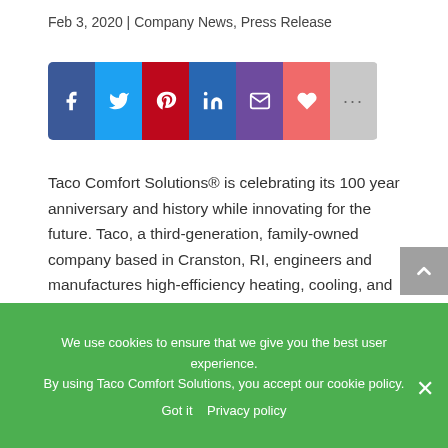Feb 3, 2020 | Company News, Press Release
[Figure (other): Social sharing buttons bar: Facebook (blue), Twitter (light blue), Pinterest (red), LinkedIn (dark blue), Email (purple), Like/Heart (red-pink), More (gray with ellipsis)]
Taco Comfort Solutions® is celebrating its 100 year anniversary and history while innovating for the future. Taco, a third-generation, family-owned company based in Cranston, RI, engineers and manufactures high-efficiency heating, cooling, and air quality comfort systems. Taco has sales and manufacturing locations in the United States, Canada, Italy, Switzerland, the Czech Republic, Germany,
[obscured] Poland and Vietnam...
Thermo Appliance [obscured] branded
We use cookies to ensure that we give you the best user experience. By using Taco Comfort Solutions, you accept our cookie policy.
Got it   Privacy policy